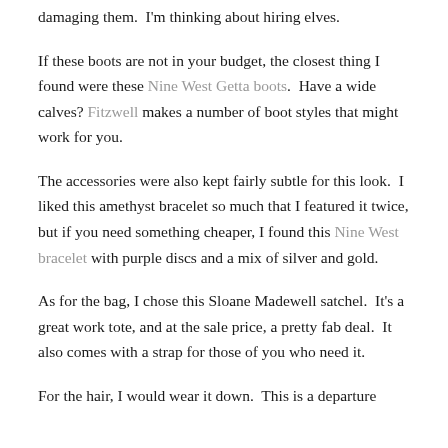damaging them.  I'm thinking about hiring elves.
If these boots are not in your budget, the closest thing I found were these Nine West Getta boots.  Have a wide calves? Fitzwell makes a number of boot styles that might work for you.
The accessories were also kept fairly subtle for this look.  I liked this amethyst bracelet so much that I featured it twice, but if you need something cheaper, I found this Nine West bracelet with purple discs and a mix of silver and gold.
As for the bag, I chose this Sloane Madewell satchel.  It's a great work tote, and at the sale price, a pretty fab deal.  It also comes with a strap for those of you who need it.
For the hair, I would wear it down.  This is a departure